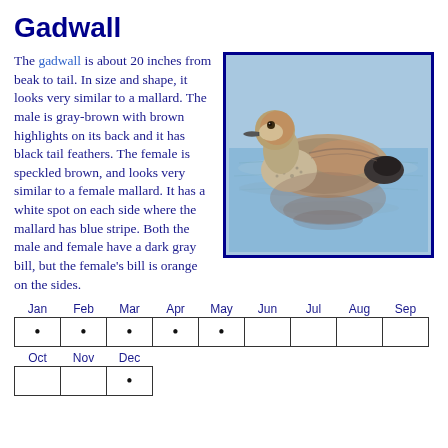Gadwall
The gadwall is about 20 inches from beak to tail. In size and shape, it looks very similar to a mallard. The male is gray-brown with brown highlights on its back and it has black tail feathers. The female is speckled brown, and looks very similar to a female mallard. It has a white spot on each side where the mallard has blue stripe. Both the male and female have a dark gray bill, but the female's bill is orange on the sides.
[Figure (photo): A gadwall duck swimming on blue water, gray-brown with brown highlights, reflected in the water below]
| Jan | Feb | Mar | Apr | May | Jun | Jul | Aug | Sep |
| --- | --- | --- | --- | --- | --- | --- | --- | --- |
| • | • | • | • | • |  |  |  |  |
| Oct | Nov | Dec |
| --- | --- | --- |
|  |  | • |